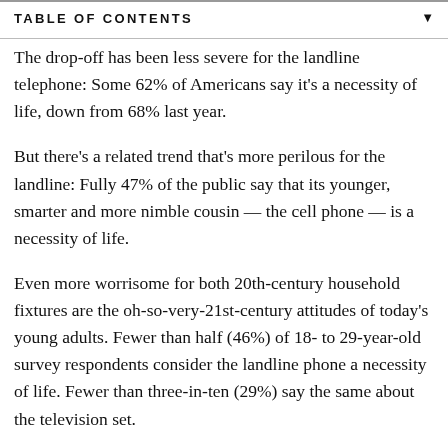TABLE OF CONTENTS
The drop-off has been less severe for the landline telephone: Some 62% of Americans say it's a necessity of life, down from 68% last year.
But there's a related trend that's more perilous for the landline: Fully 47% of the public say that its younger, smarter and more nimble cousin — the cell phone — is a necessity of life.
Even more worrisome for both 20th-century household fixtures are the oh-so-very-21st-century attitudes of today's young adults. Fewer than half (46%) of 18- to 29-year-old survey respondents consider the landline phone a necessity of life. Fewer than three-in-ten (29%) say the same about the television set.
The Pew Research Center telephone survey (landline as well as cell phone) was conducted among a nationally representative